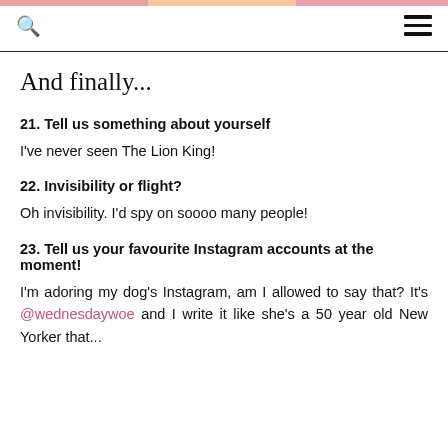And finally...
And finally...
21. Tell us something about yourself
I've never seen The Lion King!
22. Invisibility or flight?
Oh invisibility. I'd spy on soooo many people!
23. Tell us your favourite Instagram accounts at the moment!
I'm adoring my dog's Instagram, am I allowed to say that? It's @wednesdaywoe and I write it like she's a 50 year old New Yorker that...